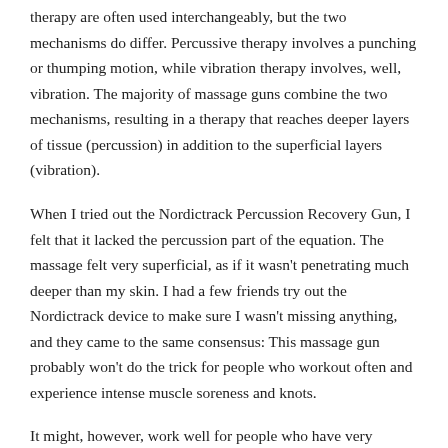therapy are often used interchangeably, but the two mechanisms do differ. Percussive therapy involves a punching or thumping motion, while vibration therapy involves, well, vibration. The majority of massage guns combine the two mechanisms, resulting in a therapy that reaches deeper layers of tissue (percussion) in addition to the superficial layers (vibration).
When I tried out the Nordictrack Percussion Recovery Gun, I felt that it lacked the percussion part of the equation. The massage felt very superficial, as if it wasn't penetrating much deeper than my skin. I had a few friends try out the Nordictrack device to make sure I wasn't missing anything, and they came to the same consensus: This massage gun probably won't do the trick for people who workout often and experience intense muscle soreness and knots.
It might, however, work well for people who have very